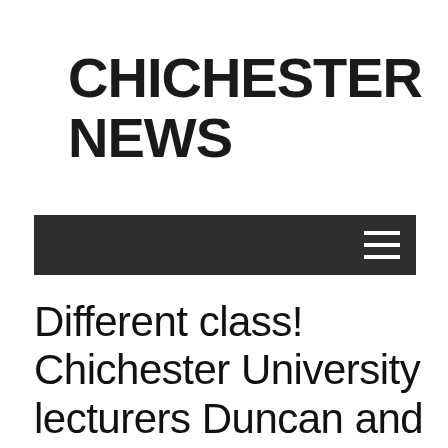CHICHESTER NEWS
[Figure (other): Dark navigation bar with hamburger menu icon on the right]
Different class! Chichester University lecturers Duncan and Linda get top award